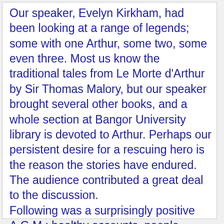Our speaker, Evelyn Kirkham, had been looking at a range of legends; some with one Arthur, some two, some even three. Most us know the traditional tales from Le Morte d'Arthur by Sir Thomas Malory, but our speaker brought several other books, and a whole section at Bangor University library is devoted to Arthur. Perhaps our persistent desire for a rescuing hero is the reason the stories have endured. The audience contributed a great deal to the discussion. Following was a surprisingly positive A.G.M.: healthy accounts, people volunteering to help each other and to raise money for the project. Even the village veg stall has earned a whopping £800. Events have been Apple Day, Wassail, Easter egg hunt, and Allotments Open Day. The Project, thus far, has actually paid a quarter of the purchase price for Castle Hill, allotments, and community orchard.